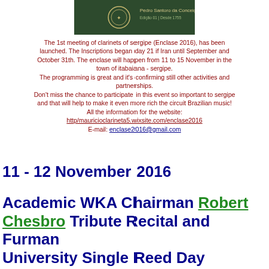[Figure (logo): Dark green header banner with logo and text for a music institution]
The 1st meeting of clarinets of sergipe (Enclase 2016), has been launched. The Inscriptions began day 21 if Iran until September and October 31th. The enclase will happen from 11 to 15 November in the town of itabaiana - sergipe.
The programming is great and it's confirming still other activities and partnerships.
Don't miss the chance to participate in this event so important to sergipe and that will help to make it even more rich the circuit Brazilian music!
All the information for the website:
http/mauricioclarineta5.wixsite.com/enclase2016
E-mail: enclase2016@gmail.com
11 - 12 November 2016
Academic WKA Chairman Robert Chesbro Tribute Recital and Furman University Single Reed Day